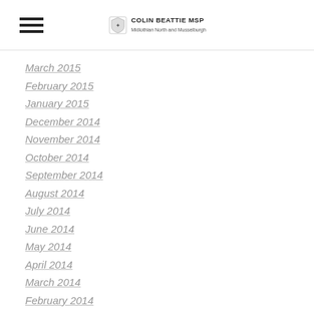Colin Beattie MSP - Midlothian North and Musselburgh
March 2015
February 2015
January 2015
December 2014
November 2014
October 2014
September 2014
August 2014
July 2014
June 2014
May 2014
April 2014
March 2014
February 2014
January 2014
December 2013
November 2013
October 2013
September 2013